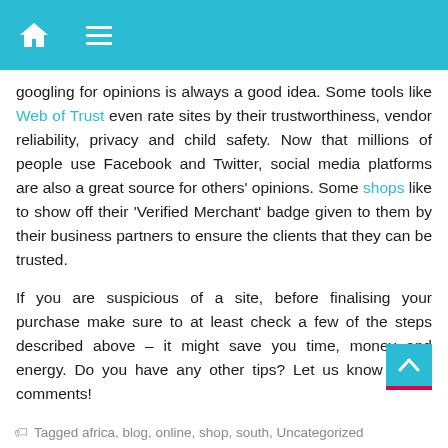[Navigation bar with home icon and menu icon]
googling for opinions is always a good idea. Some tools like Web of Trust even rate sites by their trustworthiness, vendor reliability, privacy and child safety. Now that millions of people use Facebook and Twitter, social media platforms are also a great source for others' opinions. Some shops like to show off their 'Verified Merchant' badge given to them by their business partners to ensure the clients that they can be trusted.
If you are suspicious of a site, before finalising your purchase make sure to at least check a few of the steps described above – it might save you time, money and energy. Do you have any other tips? Let us know in the comments!
Tagged africa, blog, online, shop, south, Uncategorized